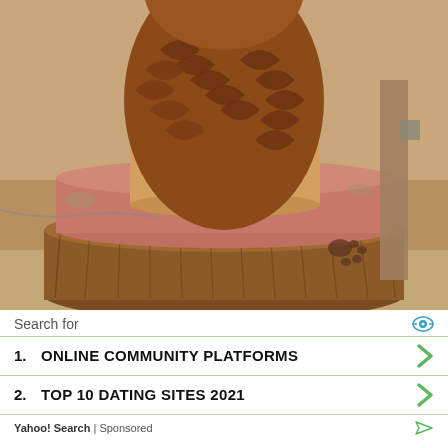[Figure (photo): A wood carving of a bear (or eagle) perched on a carved wooden base/stump. The carving sits on a large round tree stump. The sculpture shows detailed feather or fur texture carved in brown and tan wood tones. The setting appears to be an outdoor sandy ground area.]
Search for
1.  ONLINE COMMUNITY PLATFORMS
2.  TOP 10 DATING SITES 2021
Yahoo! Search | Sponsored